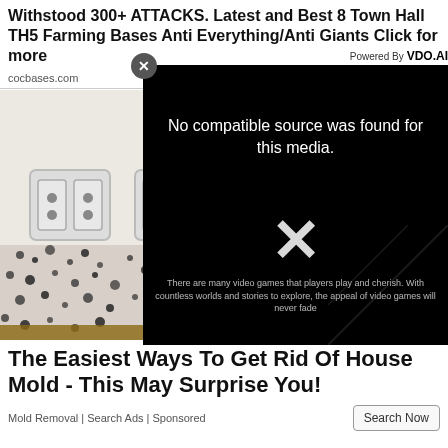Withstood 300+ ATTACKS. Latest and Best 8 Town Hall TH5 Farming Bases Anti Everything/Anti Giants Click for more
cocbases.com
[Figure (screenshot): Video player overlay with black background showing 'No compatible source was found for this media.' message with a large X icon, and a close button. Powered By VDO.AI branding shown. Partially overlays a photo of house mold near electrical outlets.]
[Figure (photo): Photo of electrical outlets on a white wall with black mold growth spreading across the lower portion of the wall.]
The Easiest Ways To Get Rid Of House Mold - This May Surprise You!
Mold Removal | Search Ads | Sponsored
Search Now